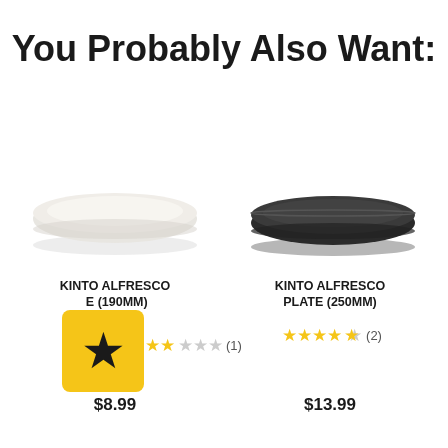You Probably Also Want:
[Figure (photo): White/light gray ceramic plate, round, low-profile, viewed from slight angle]
[Figure (photo): Dark gray/charcoal ceramic plate, round, low-profile, viewed from slight angle]
KINTO ALFRESCO PLATE (190MM)
★★☆☆☆ (1)
$8.99
KINTO ALFRESCO PLATE (250MM)
★★★★☆ (2)
$13.99